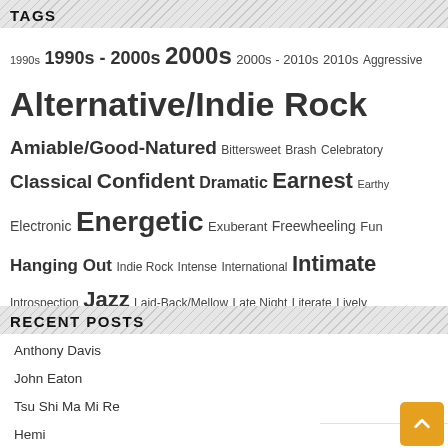TAGS
1990s 1990s - 2000s 2000s 2000s - 2010s 2010s Aggressive Alternative/Indie Rock Amiable/Good-Natured Bittersweet Brash Celebratory Classical Confident Dramatic Earnest Earthy Electronic Energetic Exuberant Freewheeling Fun Hanging Out Indie Rock Intense International Intimate Introspection Jazz Laid-Back/Mellow Late Night Literate Lively Passionate Playful Pop/Rock Reflection Reflective Rousing Sentimental Sophisticated Stylish The Creative Side Warm Wistful Yearning
RECENT POSTS
Anthony Davis
John Eaton
Tsu Shi Ma Mi Re
Hemi
James Leyland Kirby